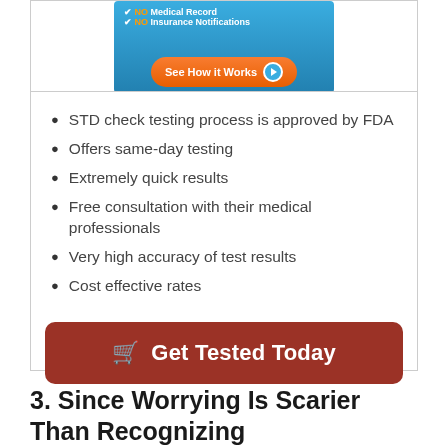[Figure (screenshot): Blue banner with NO Medical Record, NO Insurance Notifications text and orange See How it Works button]
STD check testing process is approved by FDA
Offers same-day testing
Extremely quick results
Free consultation with their medical professionals
Very high accuracy of test results
Cost effective rates
[Figure (other): Dark red button: Get Tested Today with shopping cart icon]
3. Since Worrying Is Scarier Than Recognizing